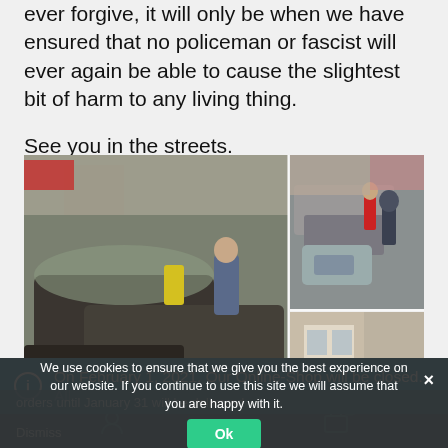ever forgive, it will only be when we have ensured that no policeman or fascist will ever again be able to cause the slightest bit of harm to any living thing.
See you in the streets.
[Figure (photo): Street scene with cars, police officers, and a crowd of people. Two photos on the right side showing additional street/incident scenes.]
On February 1, 2021, Our Online-Shop will be closed. All orders until January 31 will be delivered
Dismiss
We use cookies to ensure that we give you the best experience on our website. If you continue to use this site we will assume that you are happy with it.